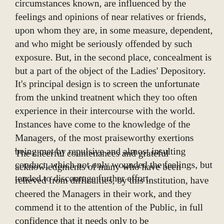circumstances known, are influenced by the feelings and opinions of near relatives or friends, upon whom they are, in some measure, dependent, and who might be seriously offended by such exposure. But, in the second place, concealment is but a part of the object of the Ladies' Depository. It's principal design is to screen the unfortunate from the unkind treatnent which they too often experience in their intercourse with the world. Instances have come to the knowledge of the Managers, of the most praiseworthy exertions being met by repulsive and almost insulting conduct, which not only wounded the feelings, but tended to discourage further effort.
The cheerful countenances and grateful acknowledgments of many who have been relieved from difficulties, by this institution, have cheered the Managers in their work, and they commend it to the attention of the Public, in full confidence that it needs only to be